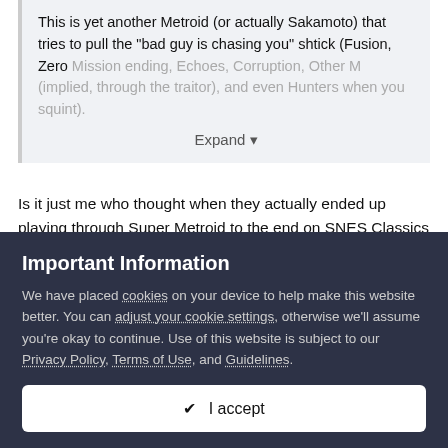This is yet another Metroid (or actually Sakamoto) that tries to pull the "bad guy is chasing you" shtick (Fusion, Zero Mission ending, Echoes, Corruption, Other M (implied, through the traitor), and even Hunters when you squint).
Expand
Is it just me who thought when they actually ended up playing through Super Metroid to the end on SNES Classics on Switch, that it was a lot smaller than I thought it was going to be?  I'm playing through SR just now and the deeper you go, the bigger and more complex the levels get, and working out how to get
Important Information
We have placed cookies on your device to help make this website better. You can adjust your cookie settings, otherwise we'll assume you're okay to continue. Use of this website is subject to our Privacy Policy, Terms of Use, and Guidelines.
✔ I accept